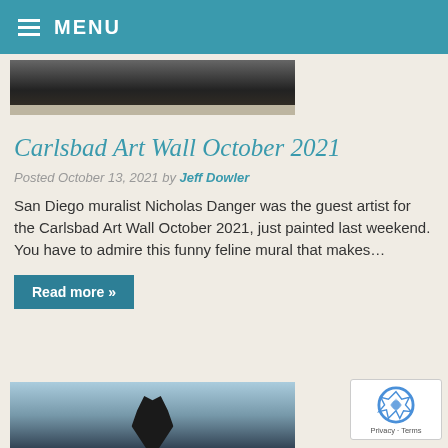MENU
[Figure (photo): Partial view of a dark mural or artwork photo, cropped at top of page]
Carlsbad Art Wall October 2021
Posted October 13, 2021 by Jeff Dowler
San Diego muralist Nicholas Danger was the guest artist for the Carlsbad Art Wall October 2021, just painted last weekend. You have to admire this funny feline mural that makes…
Read more »
[Figure (photo): Partial view of a sculpture against a blue sky, cropped at bottom of page]
[Figure (other): reCAPTCHA badge with Privacy and Terms links]